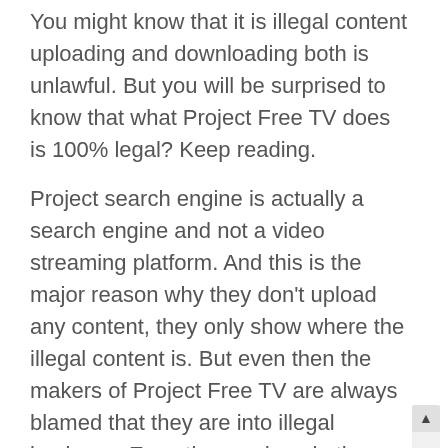You might know that it is illegal content uploading and downloading both is unlawful. But you will be surprised to know that what Project Free TV does is 100% legal? Keep reading.
Project search engine is actually a search engine and not a video streaming platform. And this is the major reason why they don't upload any content, they only show where the illegal content is. But even then the makers of Project Free TV are always blamed that they are into illegal business. Even time and again they have faced a number of legal issues as well. And this has led to shutting down the website and the website has also gone into offline mode for a number of times as well. But the viewers and followers of Project Free TV are